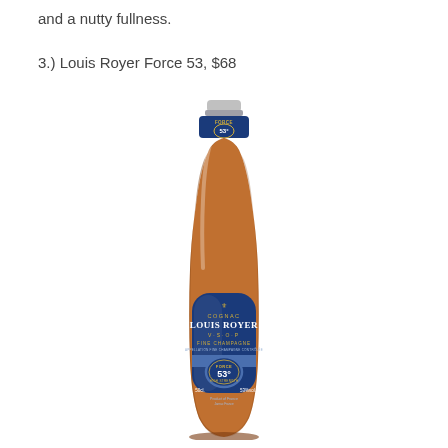and a nutty fullness.
3.) Louis Royer Force 53, $68
[Figure (photo): A bottle of Louis Royer Force 53 Cognac VSOP Fine Champagne, 50cl, 53%vol, displayed upright against a white background. The bottle is amber/cognac colored with a navy blue label reading COGNAC LOUIS ROYER V.S.O.P FINE CHAMPAGNE and a circular badge showing FORCE 53° HIGH STRENGTH. A small neck label also shows FORCE 53° HIGH STRENGTH. The cap is silver/chrome colored.]